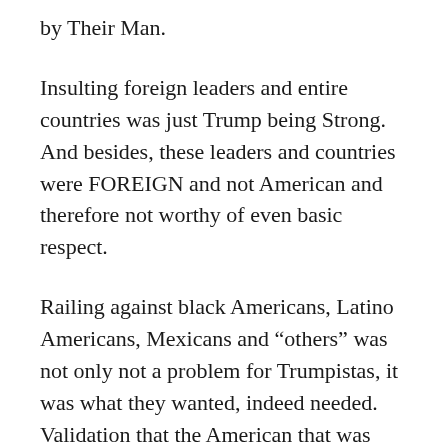by Their Man.
Insulting foreign leaders and entire countries was just Trump being Strong. And besides, these leaders and countries were FOREIGN and not American and therefore not worthy of even basic respect.
Railing against black Americans, Latino Americans, Mexicans and “others” was not only not a problem for Trumpistas, it was what they wanted, indeed needed. Validation that the American that was going to Great Again was also going to be White Again washed away any and